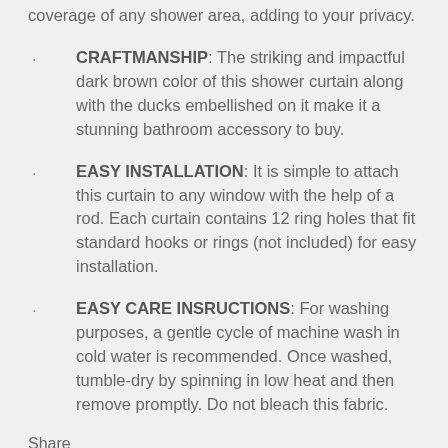coverage of any shower area, adding to your privacy.
CRAFTMANSHIP: The striking and impactful dark brown color of this shower curtain along with the ducks embellished on it make it a stunning bathroom accessory to buy.
EASY INSTALLATION: It is simple to attach this curtain to any window with the help of a rod. Each curtain contains 12 ring holes that fit standard hooks or rings (not included) for easy installation.
EASY CARE INSRUCTIONS: For washing purposes, a gentle cycle of machine wash in cold water is recommended. Once washed, tumble-dry by spinning in low heat and then remove promptly. Do not bleach this fabric.
Share
[Figure (other): Social media sharing icons: Facebook, Twitter, and another icon]